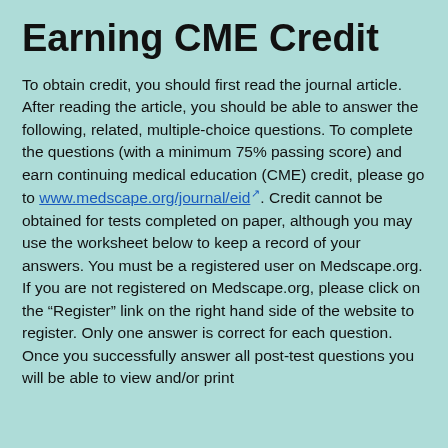Earning CME Credit
To obtain credit, you should first read the journal article. After reading the article, you should be able to answer the following, related, multiple-choice questions. To complete the questions (with a minimum 75% passing score) and earn continuing medical education (CME) credit, please go to www.medscape.org/journal/eid. Credit cannot be obtained for tests completed on paper, although you may use the worksheet below to keep a record of your answers. You must be a registered user on Medscape.org. If you are not registered on Medscape.org, please click on the “Register” link on the right hand side of the website to register. Only one answer is correct for each question. Once you successfully answer all post-test questions you will be able to view and/or print